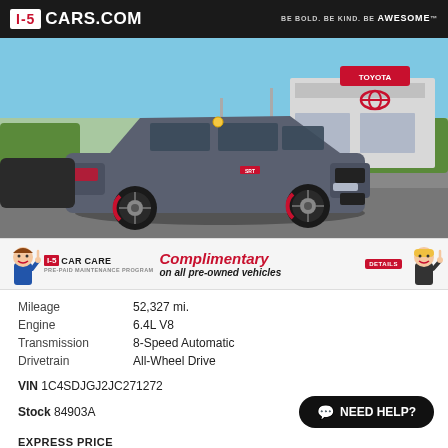I-5 CARS.COM — BE BOLD. BE KIND. BE AWESOME.
[Figure (photo): Gray Dodge Durango SRT SUV parked at a Toyota dealership lot under blue sky. The vehicle has black wheels with red brake calipers. A yellow sticker is visible on the windshield. Toyota dealership building visible in background.]
[Figure (infographic): I-5 Car Care Pre-Paid Maintenance Program banner. Shows two cartoon mascots (a man on the left and a woman on the right), an I-5 Car Care logo in the center-left, and text reading 'Complimentary on all pre-owned vehicles' in red italic. A red 'DETAILS' box appears top right of the banner.]
| Mileage | 52,327 mi. |
| Engine | 6.4L V8 |
| Transmission | 8-Speed Automatic |
| Drivetrain | All-Wheel Drive |
VIN 1C4SDJGJ2JC271272
Stock 84903A
NEED HELP?
EXPRESS PRICE